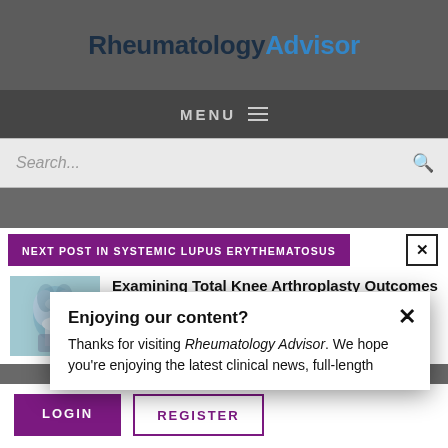Rheumatology Advisor
MENU
Search...
Enjoying our content?
Thanks for visiting Rheumatology Advisor. We hope you're enjoying the latest clinical news, full-length features, case studies, and more.
NEXT POST IN SYSTEMIC LUPUS ERYTHEMATOSUS
[Figure (photo): Medical illustration of a knee joint replacement / arthroplasty]
Examining Total Knee Arthroplasty Outcomes in Patients With Lupus
LOGIN
REGISTER